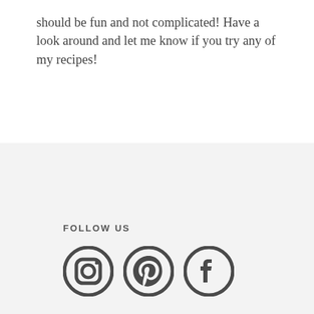should be fun and not complicated! Have a look around and let me know if you try any of my recipes!
FOLLOW US
[Figure (illustration): Three social media icons: Instagram, Pinterest, and Facebook, displayed in dark gray/charcoal color.]